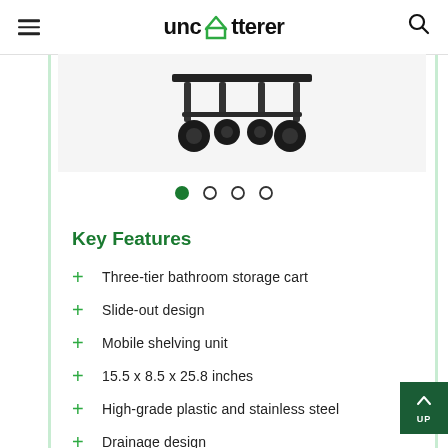unclutterer
[Figure (photo): Bottom portion of a bathroom storage cart showing black casters/wheels on a dark metal base against a light grey background]
Key Features
Three-tier bathroom storage cart
Slide-out design
Mobile shelving unit
15.5 x 8.5 x 25.8 inches
High-grade plastic and stainless steel
Drainage design